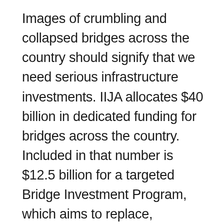Images of crumbling and collapsed bridges across the country should signify that we need serious infrastructure investments. IIJA allocates $40 billion in dedicated funding for bridges across the country. Included in that number is $12.5 billion for a targeted Bridge Investment Program, which aims to replace, preserve, and protect the most economically significant bridges in the nation. Strengthening and improving those bridges leads to more sustainable traffic flow in these high-economic